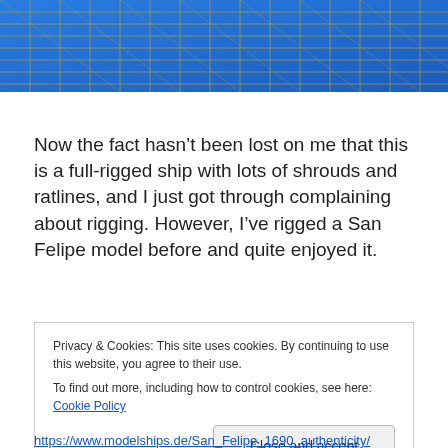[Figure (photo): Close-up photo of a blue cutting mat with a grid pattern in gold/yellow lines, viewed from above.]
Now the fact hasn’t been lost on me that this is a full-rigged ship with lots of shrouds and ratlines, and I just got through complaining about rigging. However, I’ve rigged a San Felipe model before and quite enjoyed it.
Privacy & Cookies: This site uses cookies. By continuing to use this website, you agree to their use.
To find out more, including how to control cookies, see here: Cookie Policy
[Close and accept]
https://www.modelships.de/San_Felipe_1690_authenticity/